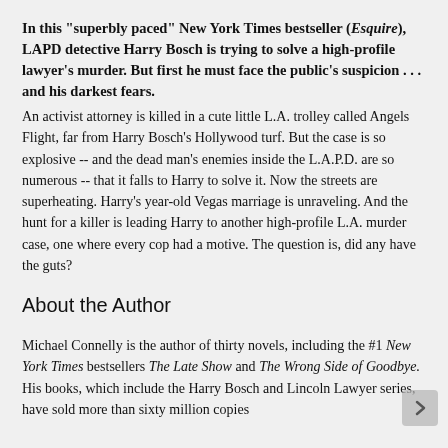In this "superbly paced" New York Times bestseller (Esquire), LAPD detective Harry Bosch is trying to solve a high-profile lawyer's murder. But first he must face the public's suspicion . . . and his darkest fears. An activist attorney is killed in a cute little L.A. trolley called Angels Flight, far from Harry Bosch's Hollywood turf. But the case is so explosive -- and the dead man's enemies inside the L.A.P.D. are so numerous -- that it falls to Harry to solve it. Now the streets are superheating. Harry's year-old Vegas marriage is unraveling. And the hunt for a killer is leading Harry to another high-profile L.A. murder case, one where every cop had a motive. The question is, did any have the guts?
About the Author
Michael Connelly is the author of thirty novels, including the #1 New York Times bestsellers The Late Show and The Wrong Side of Goodbye. His books, which include the Harry Bosch and Lincoln Lawyer series, have sold more than sixty million copies